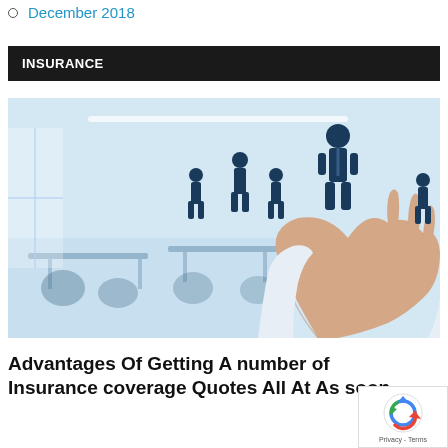December 2018
INSURANCE
[Figure (photo): A person in a white shirt holding their hand out with several dark blue silhouette figures standing on the palm, representing group insurance or employee protection, set against a blurred modern office background.]
Advantages Of Getting A number of Insurance coverage Quotes All At As soon